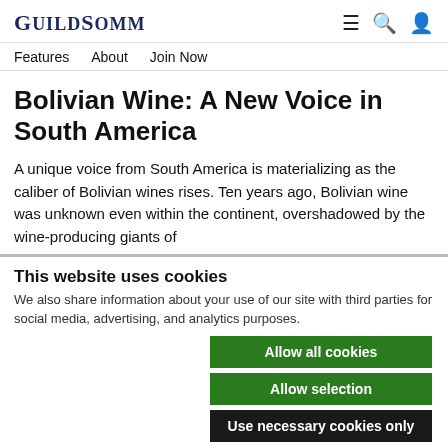GuildSomm
Features   About   Join Now
Bolivian Wine: A New Voice in South America
A unique voice from South America is materializing as the caliber of Bolivian wines rises. Ten years ago, Bolivian wine was unknown even within the continent, overshadowed by the wine-producing giants of
This website uses cookies
We also share information about your use of our site with third parties for social media, advertising, and analytics purposes.
Allow all cookies
Allow selection
Use necessary cookies only
Necessary   Preferences   Statistics   Marketing   Show details